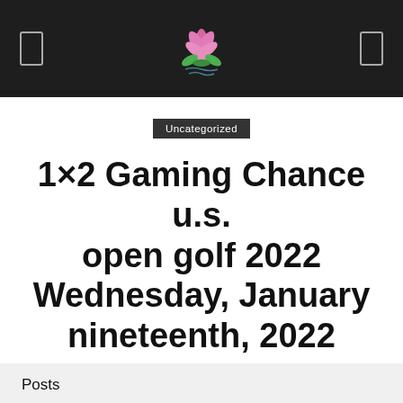BhakthiMovement logo header
Uncategorized
1×2 Gaming Chance u.s. open golf 2022 Wednesday, January nineteenth, 2022
By BhakthiMovement – February 22, 2021  137  0
Posts